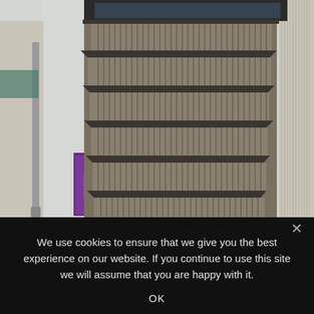[Figure (photo): Photograph of a multi-storey modern building facade with horizontal layered balcony-like structures featuring vertical metal grille railings, set in an urban street scene. A purple advertisement banner is visible on the lower left, and adjacent buildings are partially visible on both sides.]
We use cookies to ensure that we give you the best experience on our website. If you continue to use this site we will assume that you are happy with it.
OK